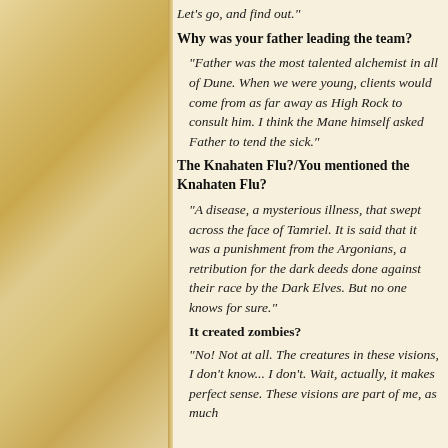Let's go, and find out."
Why was your father leading the team?
"Father was the most talented alchemist in all of Dune. When we were young, clients would come from as far away as High Rock to consult him. I think the Mane himself asked Father to tend the sick."
The Knahaten Flu?/You mentioned the Knahaten Flu?
"A disease, a mysterious illness, that swept across the face of Tamriel. It is said that it was a punishment from the Argonians, a retribution for the dark deeds done against their race by the Dark Elves. But no one knows for sure."
It created zombies?
"No! Not at all. The creatures in these visions, I don't know... I don't. Wait, actually, it makes perfect sense. These visions are part of me, as much